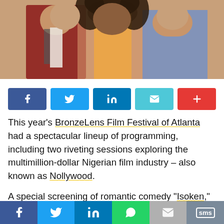[Figure (photo): Cropped photo showing three people: a man in a red jacket with a tie on the left, a woman with curly hair in the center, and a man in a blue shirt on the right. Only their torsos and lower faces are visible.]
[Figure (infographic): Row of social share buttons: Facebook (blue), Twitter (blue), LinkedIn (dark blue), Email (teal), Plus/More (red)]
This year's BronzeLens Film Festival of Atlanta had a spectacular lineup of programming, including two riveting sessions exploring the multimillion-dollar Nigerian film industry – also known as Nollywood.
A special screening of romantic comedy “Isoken,” and “Mr. Gele,” a documentary on the celebrated Houston-based Nigerian Gele (headwear) artist Segun Gele, kicked off BronzeLens at the Southwest Arts Center in Atlanta.
[Figure (infographic): Bottom share bar with Facebook, Twitter, LinkedIn, WhatsApp, Email, and SMS icons]